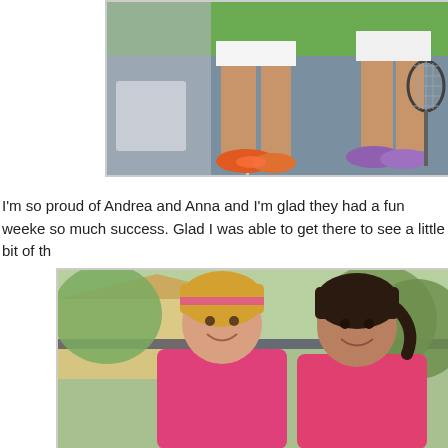[Figure (photo): Two women on a tennis court, showing their legs and colorful tennis shoes (orange/pink and purple). One is holding a tennis racket. Court surface visible with green background.]
I'm so proud of Andrea and Anna and I'm glad they had a fun weeke so much success. Glad I was able to get there to see a little bit of th
[Figure (photo): Two smiling women in pink athletic tops posing together outdoors near a tennis facility with trees and a fence in the background. One has blonde hair with a pink headband, the other has dark hair in a ponytail.]